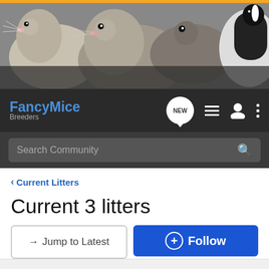[Figure (photo): Banner photo showing multiple fancy mice/rats close up, gray and black and white colored rodents]
FancyMice Breeders — navigation bar with NEW chat bubble, list icon, user icon, menu dots, and Search Community search bar
< Current Litters
Current 3 litters
→ Jump to Latest    ⊕ Follow
1 - 7 of 7 Posts
Oakelm · Premium Member
Joined Oct 17, 2009 · 174 Posts